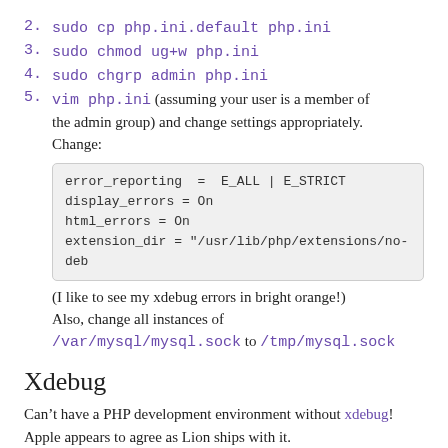2. sudo cp php.ini.default php.ini
3. sudo chmod ug+w php.ini
4. sudo chgrp admin php.ini
5. vim php.ini (assuming your user is a member of the admin group) and change settings appropriately. Change:
error_reporting =  E_ALL | E_STRICT
display_errors = On
html_errors = On
extension_dir = "/usr/lib/php/extensions/no-deb
(I like to see my xdebug errors in bright orange!) Also, change all instances of /var/mysql/mysql.sock to /tmp/mysql.sock
Xdebug
Can’t have a PHP development environment without xdebug! Apple appears to agree as Lion ships with it.